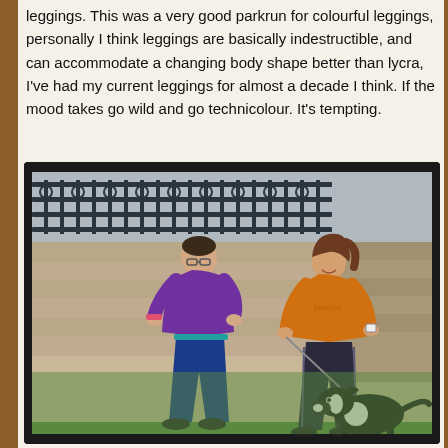leggings.  This was a very good parkrun for colourful leggings, personally I think leggings are basically indestructible, and can accommodate a changing body shape better than lycra, I've had my current leggings for almost a decade I think.  If the mood takes go wild and go technicolour.  It's tempting.
[Figure (photo): Two women running outdoors past a stone building with ornate iron railings/balustrade. The left woman wears a purple jacket and blue leggings; the right woman wears an orange long-sleeve top and dark leggings and holds a dog leash attached to a black-and-white dog (border collie) in the foreground.]